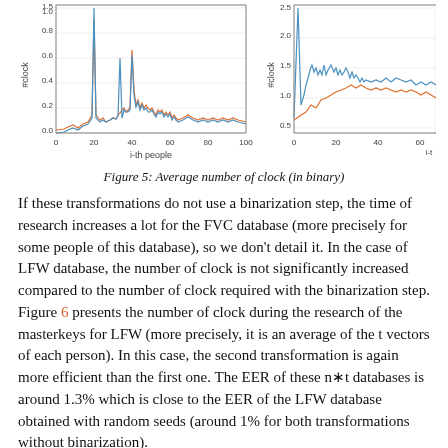[Figure (continuous-plot): Two line charts side by side showing average number of clock (in binary). Left chart: x-axis labeled 'i-th people' (0-100), y-axis labeled '#clock' (0.0-1.5), two lines (blue and orange), blue has a tall spike near x=20 and another near x=45. Right chart (partially visible): x-axis labeled 'i-t', y-axis labeled '#clock' (0.5-2.5), two lines (blue and orange) with more frequent spikes.]
Figure 5: Average number of clock (in binary)
If these transformations do not use a binarization step, the time of research increases a lot for the FVC database (more precisely for some people of this database), so we don’t detail it. In the case of LFW database, the number of clock is not significantly increased compared to the number of clock required with the binarization step. Figure 6 presents the number of clock during the research of the masterkeys for LFW (more precisely, it is an average of the t vectors of each person). In this case, the second transformation is again more efficient than the first one. The EER of these n∗t databases is around 1.3% which is close to the EER of the LFW database obtained with random seeds (around 1% for both transformations without binarization).